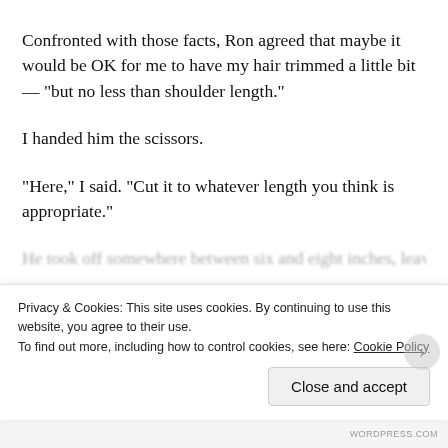Confronted with those facts, Ron agreed that maybe it would be OK for me to have my hair trimmed a little bit — “but no less than shoulder length.”
I handed him the scissors.
“Here,” I said. “Cut it to whatever length you think is appropriate.”
He took off somewhere between six and eight inches, leaving...
Privacy & Cookies: This site uses cookies. By continuing to use this website, you agree to their use.
To find out more, including how to control cookies, see here: Cookie Policy
Close and accept